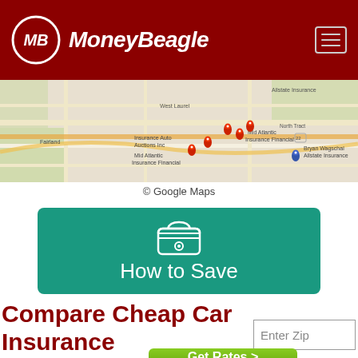MoneyBeagle
[Figure (map): Google Maps screenshot showing insurance offices in the Mid Atlantic area with red pins marking locations such as Insurance Auto Auctions Inc, Mid Atlantic Insurance Financial, Bryan Wagschal Allstate Insurance]
© Google Maps
[Figure (infographic): Teal/green rounded rectangle banner with a wallet icon and text 'How to Save']
Compare Cheap Car Insurance Quotes Now
Enter Zip
Get Rates >